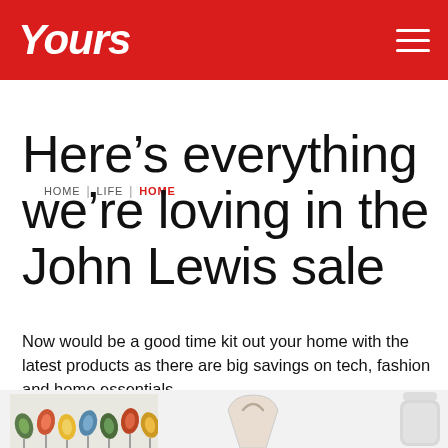Yours
HOME | LIFE | HOME
Here’s everything we’re loving in the John Lewis sale
Now would be a good time kit out your home with the latest products as there are big savings on tech, fashion and home essentials.
[Figure (photo): Three product images from John Lewis sale: an Orla Kiely multicolour stem pattern item on the left, a beige/cream bag in the centre, and a grey cylindrical thermos/bottle on the right, displayed on a light grey background.]